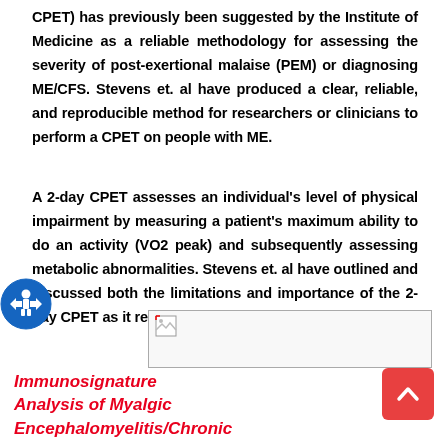CPET) has previously been suggested by the Institute of Medicine as a reliable methodology for assessing the severity of post-exertional malaise (PEM) or diagnosing ME/CFS. Stevens et. al have produced a clear, reliable, and reproducible method for researchers or clinicians to perform a CPET on people with ME.
A 2-day CPET assesses an individual's level of physical impairment by measuring a patient's maximum ability to do an activity (VO2 peak) and subsequently assessing metabolic abnormalities. Stevens et. al have outlined and discussed both the limitations and importance of the 2-day CPET as it relates to ME.
[Figure (other): Help/support icon: blue circle with white figure and arrows]
[Figure (other): Broken image placeholder in a bordered rectangle]
Immunosignature Analysis of Myalgic Encephalomyelitis/Chronic